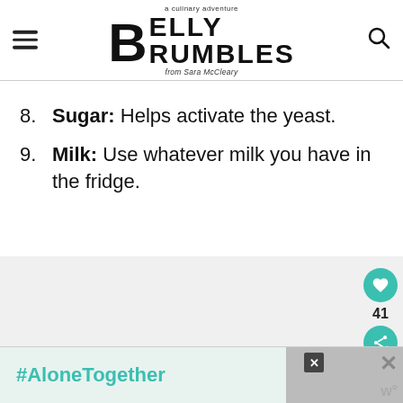Belly Rumbles — a culinary adventure from Sara McCleary
8. Sugar: Helps activate the yeast.
9. Milk: Use whatever milk you have in the fridge.
[Figure (other): Gray content placeholder area with social sharing buttons (heart/save button with count 41, share button) on the right side]
[Figure (other): Advertisement banner at bottom: #AloneTogether with photo of people, close button and W icon]